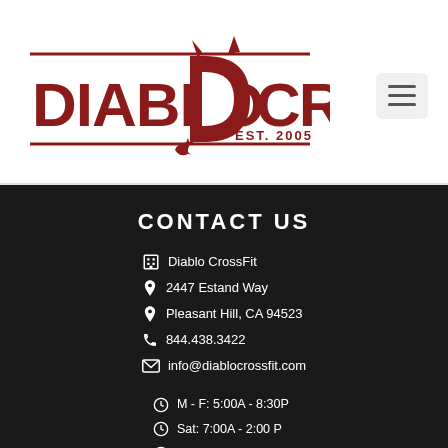[Figure (logo): Diablo CrossFit logo with devil horns and tail on letter D, dark red color, EST. 2005]
CONTACT US
Diablo CrossFit
2447 Estand Way
Pleasant Hill, CA 94523
844.438.3422
info@diablocrossfit.com
M - F: 5:00A - 8:30P
Sat: 7:00A - 2:00 P
Sun: 8:00 A - 12:00 P